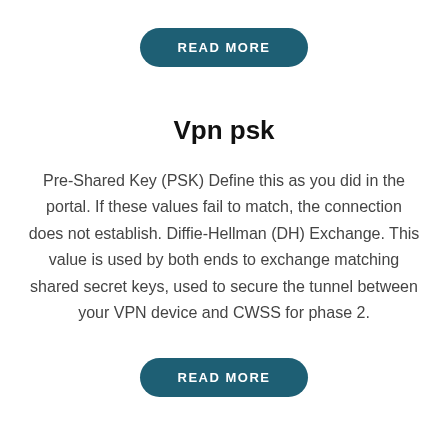[Figure (other): READ MORE button at the top of the page, dark teal rounded rectangle button with white uppercase text]
Vpn psk
Pre-Shared Key (PSK) Define this as you did in the portal. If these values fail to match, the connection does not establish. Diffie-Hellman (DH) Exchange. This value is used by both ends to exchange matching shared secret keys, used to secure the tunnel between your VPN device and CWSS for phase 2.
[Figure (other): READ MORE button at the bottom of the page, dark teal rounded rectangle button with white uppercase text]